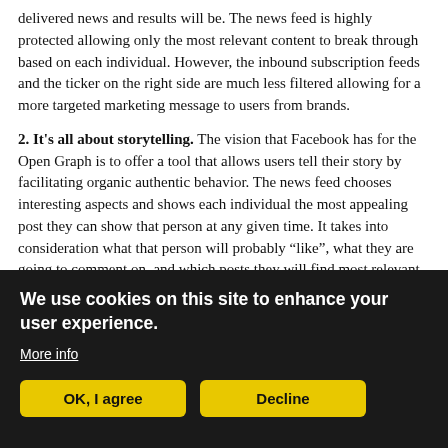delivered news and results will be. The news feed is highly protected allowing only the most relevant content to break through based on each individual. However, the inbound subscription feeds and the ticker on the right side are much less filtered allowing for a more targeted marketing message to users from brands.
2. It's all about storytelling. The vision that Facebook has for the Open Graph is to offer a tool that allows users tell their story by facilitating organic authentic behavior. The news feed chooses interesting aspects and shows each individual the most appealing post they can show that person at any given time. It takes into consideration what that person will probably “like”, what they are going to comment on, and which posts they will find most relevant. By
We use cookies on this site to enhance your user experience.
More info
OK, I agree   Decline